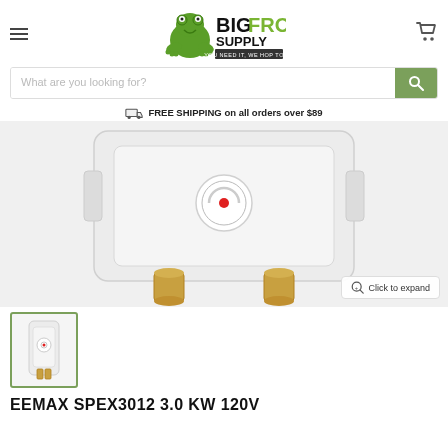[Figure (logo): Big Frog Supply logo with cartoon frog and text 'BIG FROG SUPPLY — YOU NEED IT, WE HOP TO IT!']
What are you looking for?
FREE SHIPPING on all orders over $89
[Figure (photo): Close-up photo of a white tankless electric water heater (Eemax SPEX3012) showing the front panel with a circular logo/indicator and two brass water connection fittings at the bottom.]
Click to expand
[Figure (photo): Thumbnail image of the same Eemax SPEX3012 white tankless water heater, vertical orientation.]
EEMAX SPEX3012 3.0 KW 120V